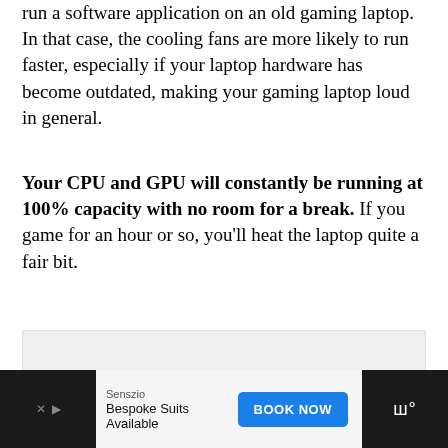run a software application on an old gaming laptop. In that case, the cooling fans are more likely to run faster, especially if your laptop hardware has become outdated, making your gaming laptop loud in general.
Your CPU and GPU will constantly be running at 100% capacity with no room for a break. If you game for an hour or so, you'll heat the laptop quite a fair bit.
[Figure (other): Gray placeholder box for an image or advertisement content area]
Senszio Bespoke Suits Available BOOK NOW